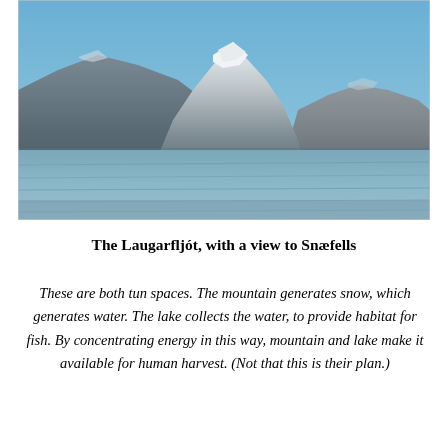[Figure (photo): Photograph of Laugarfljót lake with snow-capped Snæfells mountain in the background under a clear blue sky. Mountains and hills visible on both sides. The lake surface reflects blue-grey tones in the foreground.]
The Laugarfljót, with a view to Snæfells
These are both tun spaces. The mountain generates snow, which generates water. The lake collects the water, to provide habitat for fish. By concentrating energy in this way, mountain and lake make it available for human harvest. (Not that this is their plan.)